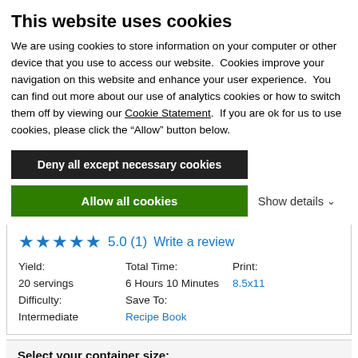This website uses cookies
We are using cookies to store information on your computer or other device that you use to access our website.  Cookies improve your navigation on this website and enhance your user experience.  You can find out more about our use of analytics cookies or how to switch them off by viewing our Cookie Statement.  If you are ok for us to use cookies, please click the “Allow” button below.
Deny all except necessary cookies
Allow all cookies
Show details ⌄
5.0 (1)   Write a review
|  |  |  |
| --- | --- | --- |
| Yield: | Total Time: | Print: |
| 20 servings | 6 Hours 10 Minutes | 8.5x11 |
| Difficulty: | Save To: |  |
| Intermediate | Recipe Book |  |
Select your container size:
Low-Profile 64-ounce/ 2.0-lit